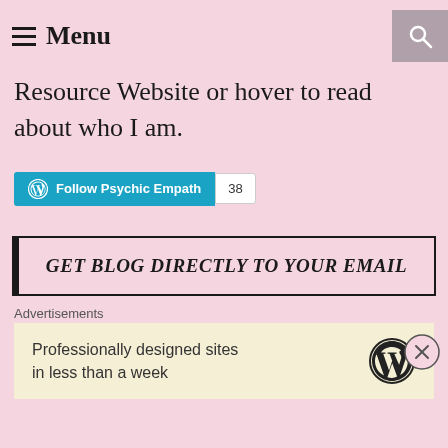Menu
Resource Website or hover to read about who I am.
[Figure (other): Follow Psychic Empath button with WordPress logo and follower count badge showing 38]
GET BLOG DIRECTLY TO YOUR EMAIL
Advertisements
Professionally designed sites in less than a week